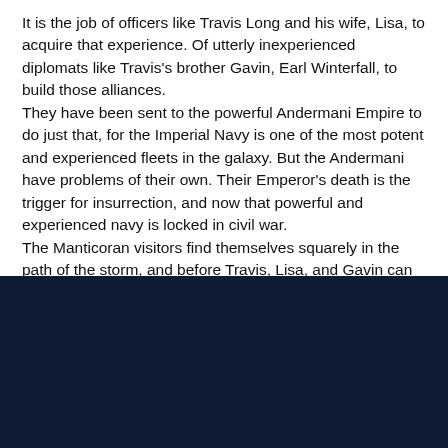It is the job of officers like Travis Long and his wife, Lisa, to acquire that experience. Of utterly inexperienced diplomats like Travis's brother Gavin, Earl Winterfall, to build those alliances.
They have been sent to the powerful Andermani Empire to do just that, for the Imperial Navy is one of the most potent and experienced fleets in the galaxy. But the Andermani have problems of their own. Their Emperor's death is the trigger for insurrection, and now that powerful and experienced navy is locked in civil war.
The Manticoran visitors find themselves squarely in the path of the storm, and before Travis, Lisa, and Gavin can accomplish anything else, they first have to survive.
[Figure (other): Dark navy blue rectangular block filling the bottom portion of the page.]